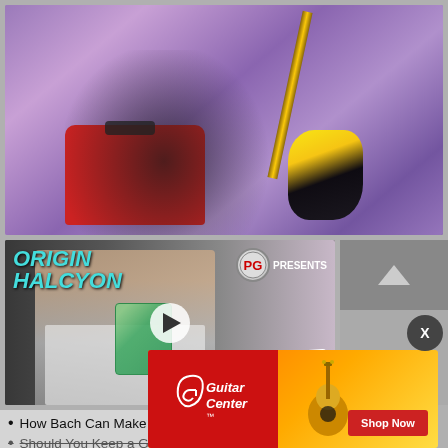[Figure (photo): Guitarist sitting in a red chair with a flame-decorated guitar against a purple/violet background]
[Figure (screenshot): Video thumbnail showing a man holding a guitar pedal, with 'ORIGIN HALCYON' text on left, PG Presents logo top right, play button in center, and FIRST LOOK badge bottom right]
How Bach Can Make You a Better Guitarist
Should You Keep a Guitar Journal?
[Figure (photo): Guitar Center advertisement showing logo on red background left side, acoustic guitar image, and Shop Now button]
"It's the Millie Di